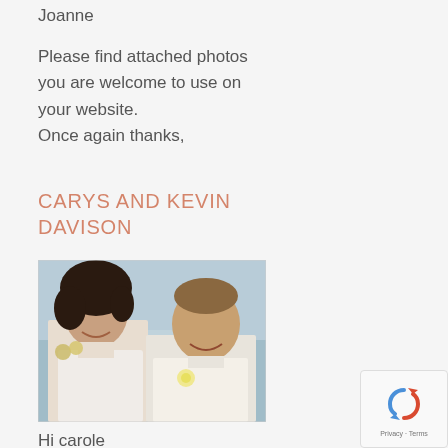Joanne
Please find attached photos you are welcome to use on your website.
Once again thanks,
CARYS AND KEVIN DAVISON
[Figure (photo): Wedding couple photo: woman in white dress with dark curly hair and man in white shirt with boutonniere, smiling outdoors near water]
Hi carole
Kev and I would like to thank you very much for creating